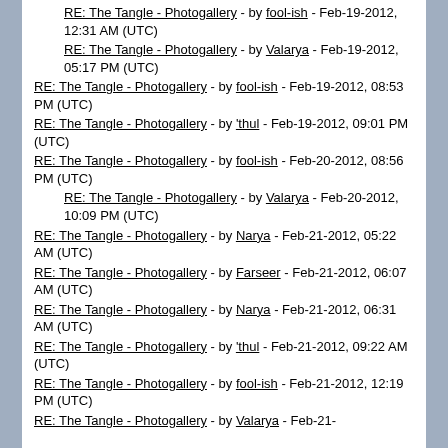RE: The Tangle - Photogallery - by fool-ish - Feb-19-2012, 12:31 AM (UTC)
RE: The Tangle - Photogallery - by Valarya - Feb-19-2012, 05:17 PM (UTC)
RE: The Tangle - Photogallery - by fool-ish - Feb-19-2012, 08:53 PM (UTC)
RE: The Tangle - Photogallery - by 'thul - Feb-19-2012, 09:01 PM (UTC)
RE: The Tangle - Photogallery - by fool-ish - Feb-20-2012, 08:56 PM (UTC)
RE: The Tangle - Photogallery - by Valarya - Feb-20-2012, 10:09 PM (UTC)
RE: The Tangle - Photogallery - by Narya - Feb-21-2012, 05:22 AM (UTC)
RE: The Tangle - Photogallery - by Farseer - Feb-21-2012, 06:07 AM (UTC)
RE: The Tangle - Photogallery - by Narya - Feb-21-2012, 06:31 AM (UTC)
RE: The Tangle - Photogallery - by 'thul - Feb-21-2012, 09:22 AM (UTC)
RE: The Tangle - Photogallery - by fool-ish - Feb-21-2012, 12:19 PM (UTC)
RE: The Tangle - Photogallery - by Valarya - Feb-21-